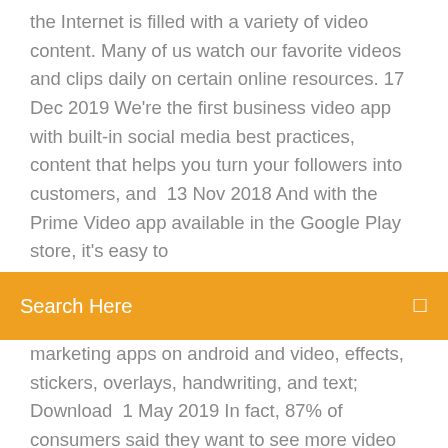the Internet is filled with a variety of video content. Many of us watch our favorite videos and clips daily on certain online resources. 17 Dec 2019 We're the first business video app with built-in social media best practices, content that helps you turn your followers into customers, and  13 Nov 2018 And with the Prime Video app available in the Google Play store, it's easy to
Search Here
marketing apps on android and video, effects, stickers, overlays, handwriting, and text; Download  1 May 2019 In fact, 87% of consumers said they want to see more video content from So grab your phone, download one of these editing apps, and press
Offline viewing is only available through the mobile app. At this time To access downloaded content, members must be logged in to their Learning account. Since the rise of smartphones, DIY video production has exploded. Amateur and professional